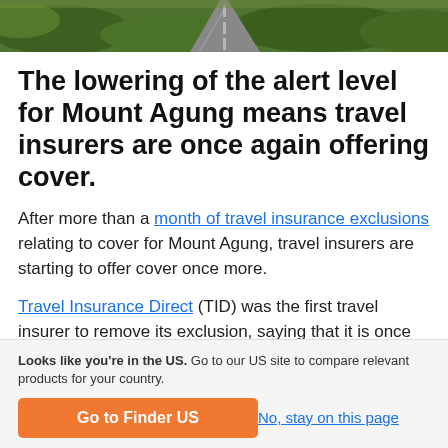[Figure (photo): Aerial or ground-level view of a road through green vegetation, likely a nature path or mountain road near Mount Agung]
The lowering of the alert level for Mount Agung means travel insurers are once again offering cover.
After more than a month of travel insurance exclusions relating to cover for Mount Agung, travel insurers are starting to offer cover once more.
Travel Insurance Direct (TID) was the first travel insurer to remove its exclusion, saying that it is once
Looks like you're in the US. Go to our US site to compare relevant products for your country.
Go to Finder US
No, stay on this page